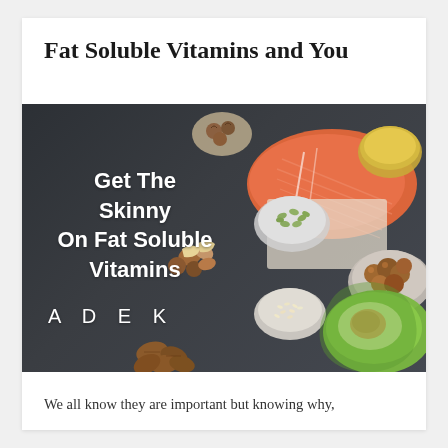Fat Soluble Vitamins and You
[Figure (photo): A dark slate board with various healthy foods including salmon, avocado, nuts, seeds, olive oil, and mixed nuts. White text overlay reads 'Get The Skinny On Fat Soluble Vitamins' and 'A D E K']
We all know they are important but knowing why,